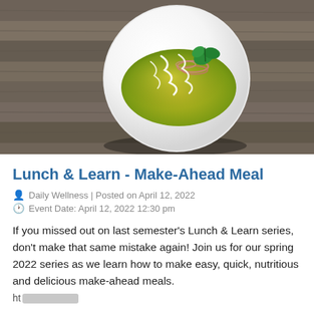[Figure (photo): A white round plate with green enchiladas topped with white cream drizzle, shredded red onion, and fresh herb garnish, placed on a rustic wooden table surface.]
Lunch & Learn - Make-Ahead Meal
Daily Wellness | Posted on April 12, 2022
Event Date: April 12, 2022 12:30 pm
If you missed out on last semester's Lunch & Learn series, don't make that same mistake again! Join us for our spring 2022 series as we learn how to make easy, quick, nutritious and delicious make-ahead meals.